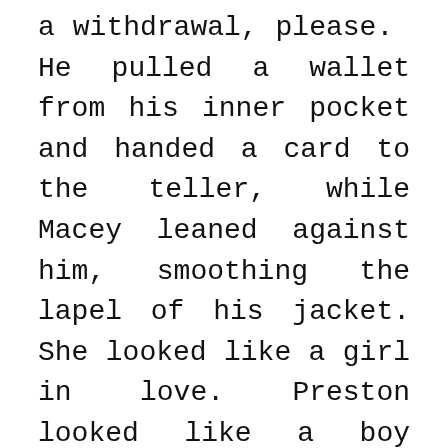a withdrawal, please.  He pulled a wallet from his inner pocket and handed a card to the teller, while Macey leaned against him, smoothing the lapel of his jacket. She looked like a girl in love. Preston looked like a boy about to vomit all over a two-hundred-year-old table. And I kept turning, scanning the room as casually as I could.
“It’s okay, Cam,” Bex said in my ear. “You’re just taking a look around. It’s just a recon.”
“Focus, Ms. Morgan,” Townsend said.
“I am!” I hissed in his direction.